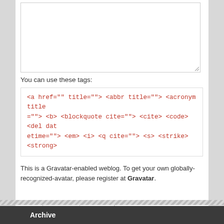You can use these tags:
<a href="" title=""> <abbr title=""> <acronym title=""> <b> <blockquote cite=""> <cite> <code> <del datetime=""> <em> <i> <q cite=""> <s> <strike> <strong>
This is a Gravatar-enabled weblog. To get your own globally-recognized-avatar, please register at Gravatar.
Post Comment
two × [input] = eight
Archive